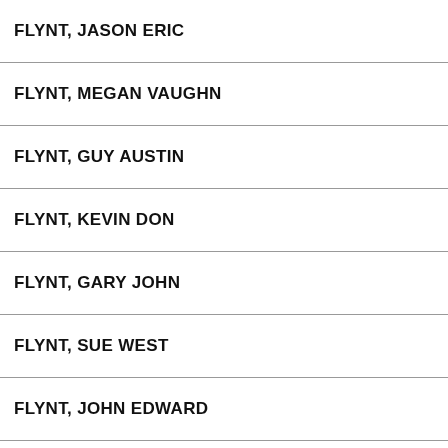| FLYNT, JASON ERIC |
| FLYNT, MEGAN VAUGHN |
| FLYNT, GUY AUSTIN |
| FLYNT, KEVIN DON |
| FLYNT, GARY JOHN |
| FLYNT, SUE WEST |
| FLYNT, JOHN EDWARD |
| FLYNT II, BILL WALTON |
| FLYNT IV, WILLIAM CHARLES |
| FLYNT SR, FREDERICK LEE |